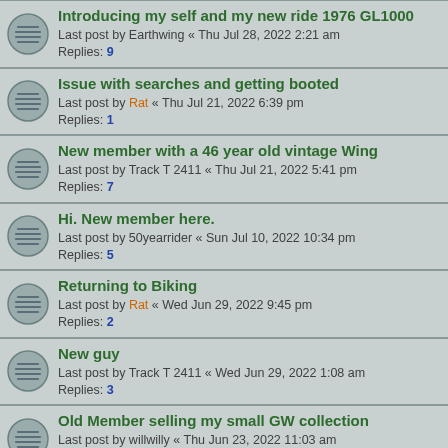Introducing my self and my new ride 1976 GL1000
Last post by Earthwing « Thu Jul 28, 2022 2:21 am
Replies: 9
Issue with searches and getting booted
Last post by Rat « Thu Jul 21, 2022 6:39 pm
Replies: 1
New member with a 46 year old vintage Wing
Last post by Track T 2411 « Thu Jul 21, 2022 5:41 pm
Replies: 7
Hi. New member here.
Last post by 50yearrider « Sun Jul 10, 2022 10:34 pm
Replies: 5
Returning to Biking
Last post by Rat « Wed Jun 29, 2022 9:45 pm
Replies: 2
New guy
Last post by Track T 2411 « Wed Jun 29, 2022 1:08 am
Replies: 3
Old Member selling my small GW collection
Last post by willwilly « Thu Jun 23, 2022 11:03 am
Replies: 5
'77 gl1000 new to me!
Last post by Rat « Wed Jun 22, 2022 3:25 pm
Replies: 0